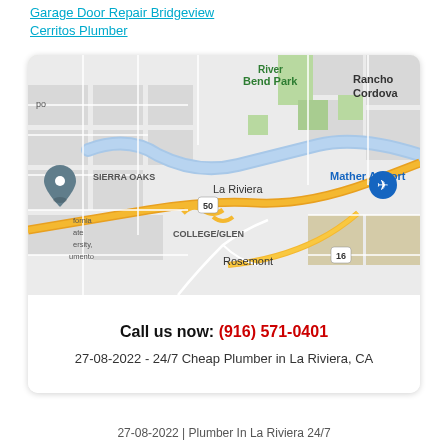Garage Door Repair Bridgeview
Cerritos Plumber
[Figure (map): Google Maps showing La Riviera, CA area with Sierra Oaks, Rancho Cordova, Mather Airport, Rosemont, College/Glen, and Highway 50 and 16 visible. A river runs through the map. Blue location pin visible on left side.]
Call us now: (916) 571-0401
27-08-2022 - 24/7 Cheap Plumber in La Riviera, CA
27-08-2022 | Plumber In La Riviera 24/7